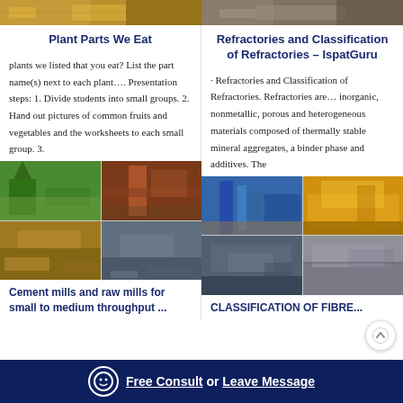[Figure (photo): Top strip showing two photos side by side: left shows quarry/mining equipment with yellow crane, right shows rocky/quarry terrain]
Plant Parts We Eat
Refractories and Classification of Refractories – IspatGuru
plants we listed that you eat? List the part name(s) next to each plant…. Presentation steps: 1. Divide students into small groups. 2. Hand out pictures of common fruits and vegetables and the worksheets to each small group. 3.
· Refractories and Classification of Refractories. Refractories are… inorganic, nonmetallic, porous and heterogeneous materials composed of thermally stable mineral aggregates, a binder phase and additives. The
[Figure (photo): Grid of four photos showing cement/mining mills and conveyor belts equipment]
[Figure (photo): Grid of four photos showing industrial classification equipment including blue and yellow machinery]
Cement mills and raw mills for small to medium throughput ...
CLASSIFICATION OF FIBRE...
Free Consult  or  Leave Message